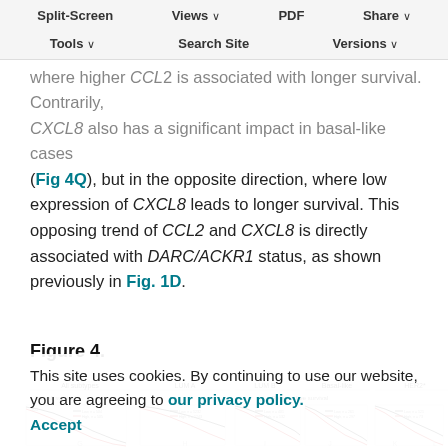Specifically, CCL2 has the most significant survival impact on basal-like and HER2+ cases (Fig. 4K and L) where higher CCL2 is associated with longer survival. Contrarily, CXCL8 also has a significant impact in basal-like cases (Fig 4Q), but in the opposite direction, where low expression of CXCL8 leads to longer survival. This opposing trend of CCL2 and CXCL8 is directly associated with DARC/ACKR1 status, as shown previously in Fig. 1D.
Figure 4.
[Figure (other): Kaplan-Meier survival curves panel showing Overall survival and Relapse-free survival across All subtypes, LUM A, LUM B, Basal-like, and HER2+ breast cancer subtypes. Low (black) and High (red) expression groups shown for each subtype.]
This site uses cookies. By continuing to use our website, you are agreeing to our privacy policy. Accept